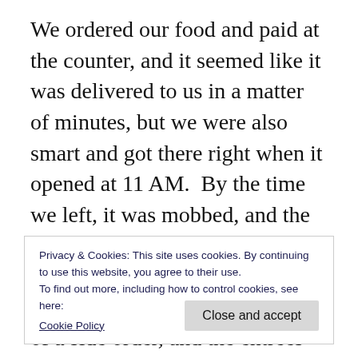We ordered our food and paid at the counter, and it seemed like it was delivered to us in a matter of minutes, but we were also smart and got there right when it opened at 11 AM.  By the time we left, it was mobbed, and the rest of Disney Springs was mobbed too.  All the barbecue sandwiches come with a choice of a side order, and the entrees come with a small jalapeno cornbread muffin, “signature Polite slaw,” and a choice of a side.  My friend and his mom (who is no longer my first-grade teacher,
Privacy & Cookies: This site uses cookies. By continuing to use this website, you agree to their use.
To find out more, including how to control cookies, see here:
Cookie Policy
Close and accept